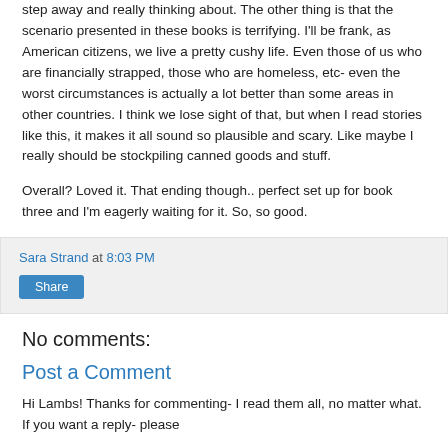step away and really thinking about. The other thing is that the scenario presented in these books is terrifying. I'll be frank, as American citizens, we live a pretty cushy life. Even those of us who are financially strapped, those who are homeless, etc- even the worst circumstances is actually a lot better than some areas in other countries. I think we lose sight of that, but when I read stories like this, it makes it all sound so plausible and scary. Like maybe I really should be stockpiling canned goods and stuff.
Overall? Loved it. That ending though.. perfect set up for book three and I'm eagerly waiting for it. So, so good.
Sara Strand at 8:03 PM
Share
No comments:
Post a Comment
Hi Lambs! Thanks for commenting- I read them all, no matter what. If you want a reply- please